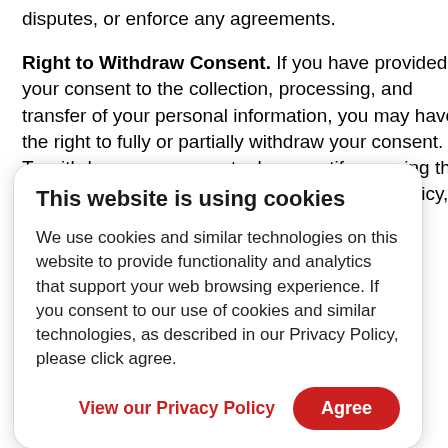disputes, or enforce any agreements.
Right to Withdraw Consent. If you have provided your consent to the collection, processing, and transfer of your personal information, you may have the right to fully or partially withdraw your consent. To withdraw your consent, please notify us using the information in the Contact Us section of this Policy, and you may follow
This website is using cookies
We use cookies and similar technologies on this website to provide functionality and analytics that support your web browsing experience. If you consent to our use of cookies and similar technologies, as described in our Privacy Policy, please click agree.
View our Privacy Policy  Agree